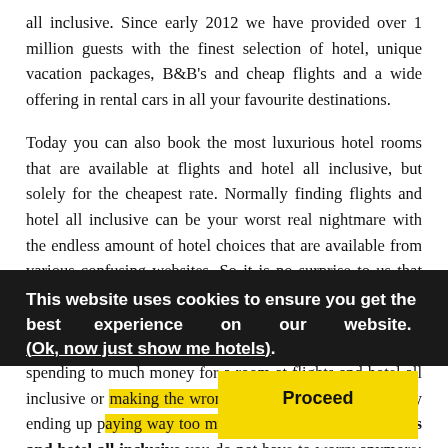all inclusive. Since early 2012 we have provided over 1 million guests with the finest selection of hotel, unique vacation packages, B&B's and cheap flights and a wide offering in rental cars in all your favourite destinations.
Today you can also book the most luxurious hotel rooms that are available at flights and hotel all inclusive, but solely for the cheapest rate. Normally finding flights and hotel all inclusive can be your worst real nightmare with the endless amount of hotel choices that are available from various confusing websites. So it is no surprise to us that flights and hotel all inclusive and making your preferred hotel reservation, which actually should be a very simple experience, fills most of us with fear at the thought of spending to much money for a room at flights and hotel all inclusive or making the wrong room choice and eventually ending up paying way too much. But now, with this flights and hotel all inclusive you do not have to worry anymore; booking a room at flights and hotel all inclusive has become
This website uses cookies to ensure you get the best experience on our website. (Ok, now just show me hotels).
Proceed